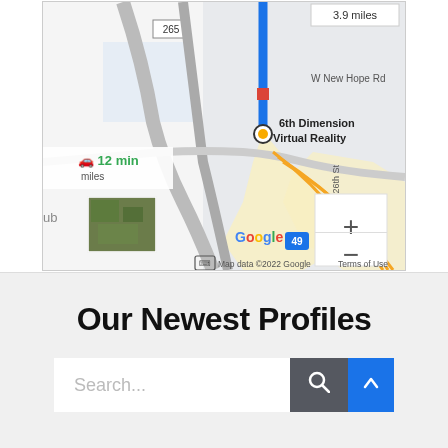[Figure (map): Google Maps screenshot showing directions to 6th Dimension Virtual Reality. Shows a route with blue navigation line, 3.9 miles distance, 12 min travel time, W New Hope Rd label, S 26th St label, road number 265, Google branding, zoom controls (+/-), satellite thumbnail, and map attribution 'Map data ©2022 Google  Terms of Use'.]
Our Newest Profiles
Search...